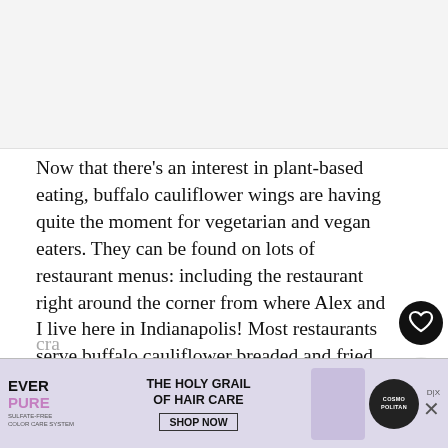[Figure (photo): Image placeholder at top of article page, light gray background]
Now that there’s an interest in plant-based eating, buffalo cauliflower wings are having quite the moment for vegetarian and vegan eaters. They can be found on lots of restaurant menus: including the restaurant right around the corner from where Alex and I live here in Indianapolis! Most restaurants serve buffalo cauliflower breaded and fried to simulate a meaty texture. We leave that to the restaurants and make the healthy non-breaded version when we have a cra…
[Figure (screenshot): Advertisement banner for EverPure hair care product by Cosmopolitan, with text: THE HOLY GRAIL OF HAIR CARE, SHOP NOW, SULFATE-FREE]